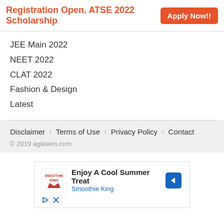Registration Open. ATSE 2022 Scholarship   Apply Now!!
JEE Main 2022
NEET 2022
CLAT 2022
Fashion & Design
Latest
Disclaimer   /   Terms of Use   /   Privacy Policy   /   Contact
© 2019 aglasem.com
[Figure (screenshot): Advertisement box showing Smoothie King ad: 'Enjoy A Cool Summer Treat' with Smoothie King logo, blue arrow icon, and ad controls (play and close icons).]